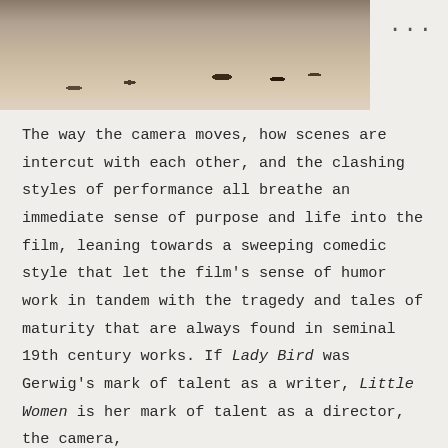[Figure (photo): Partial photo showing feet/shoes standing on sandy ground, cropped at top of page]
The way the camera moves, how scenes are intercut with each other, and the clashing styles of performance all breathe an immediate sense of purpose and life into the film, leaning towards a sweeping comedic style that let the film's sense of humor work in tandem with the tragedy and tales of maturity that are always found in seminal 19th century works. If Lady Bird was Gerwig's mark of talent as a writer, Little Women is her mark of talent as a director, the camera,